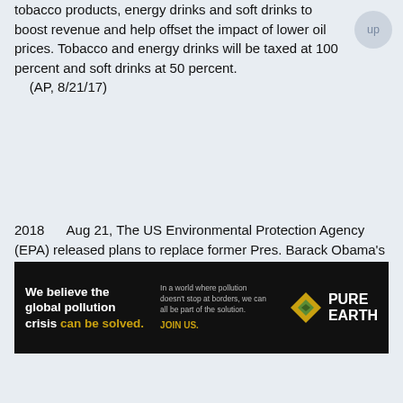tobacco products, energy drinks and soft drinks to boost revenue and help offset the impact of lower oil prices. Tobacco and energy drinks will be taxed at 100 percent and soft drinks at 50 percent.
    (AP, 8/21/17)
2018      Aug 21, The US Environmental Protection Agency (EPA) released plans to replace former Pres. Barack Obama's regulations governing greenhouse gas emissions from power plants with a looser system that gives states more leeway in controlling emissions.
    (SFC, 8/22/18, p.A1)
2018      Aug 21, Prosecutors in six California counties filed 13 new charges in the high-profile Golden State Killer case and announced that they will jointly prosecute Joseph James DeAngelo (72) in Sacramento. In 2020 DeAngelo agreed to plead guilty to dozens of crimes in return for
[Figure (other): Advertisement banner for Pure Earth organization. Dark background with text: 'We believe the global pollution crisis can be solved.' and 'In a world where pollution doesn't stop at borders, we can all be part of the solution. JOIN US.' with Pure Earth diamond logo.]